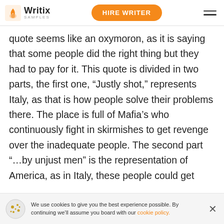Writix SAMPLES | HIRE WRITER
quote seems like an oxymoron, as it is saying that some people did the right thing but they had to pay for it. This quote is divided in two parts, the first one, “Justly shot,” represents Italy, as that is how people solve their problems there. The place is full of Mafia’s who continuously fight in skirmishes to get revenge over the inadequate people. The second part “…by unjust men” is the representation of America, as in Italy, these people could get away with the killing, but in America, they could not, as there was an actual written and more advanced law which did not take into acco
We use cookies to give you the best experience possible. By continuing we’ll assume you board with our cookie policy.